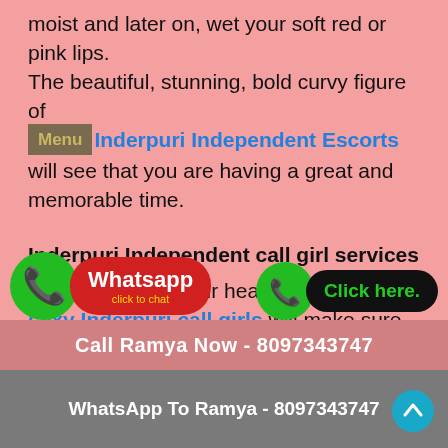moist and later on, wet your soft red or pink lips. The beautiful, stunning, bold curvy figure of Inderpuri Independent Escorts will see that you are having a great and memorable time.
Inderpuri Independent call girl services
So, whatever is your heart desirous of the sexy Inderpuri call girls will make sure that it is carried out perfectly. The objective of the role-playing girl in Inderpuri is t…
[Figure (other): WhatsApp click to chat button with green phone icon and red label]
[Figure (other): Click here button with green phone icon and black label]
Call Ramya Now - 8097343747
WhatsApp To Ramya - 8097343747